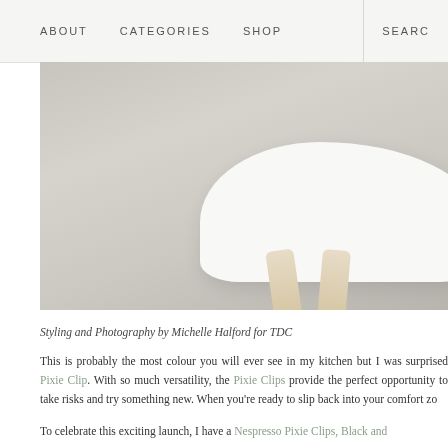ABOUT   CATEGORIES   SHOP   SEARCH
[Figure (photo): Close-up photograph of a white modernist chair seat with light wood legs against a light grey background. Styling and Photography by Michelle Halford for TDC.]
Styling and Photography by Michelle Halford for TDC
This is probably the most colour you will ever see in my kitchen but I was surprised Pixie Clip. With so much versatility, the Pixie Clips provide the perfect opportunity to take risks and try something new. When you're ready to slip back into your comfort zo
To celebrate this exciting launch, I have a Nespresso Pixie Clips, Black and